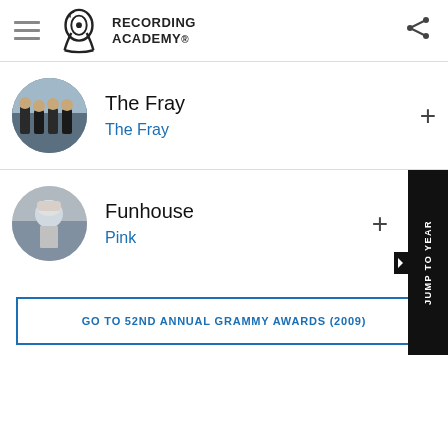Recording Academy
The Fray / The Fray
Funhouse / Pink
JUMP TO YEAR
GO TO 52ND ANNUAL GRAMMY AWARDS (2009)